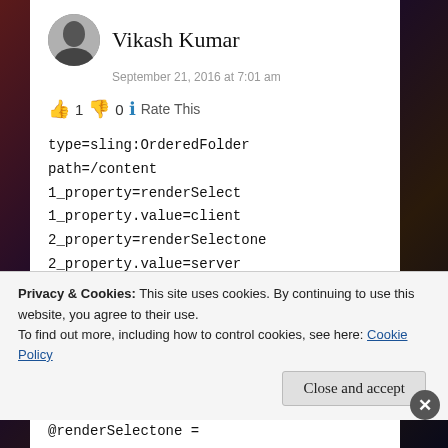Vikash Kumar
September 21, 2016 at 7:01 am
👍 1 👎 0 ℹ Rate This
type=sling:OrderedFolder
path=/content
1_property=renderSelect
1_property.value=client
2_property=renderSelectone
2_property.value=server
p.limit=-1

/jcr:root/content//element(*, sling:OrderedFolder)
[
@renderSelect = 'client' and @renderSelectone =
Privacy & Cookies: This site uses cookies. By continuing to use this website, you agree to their use.
To find out more, including how to control cookies, see here: Cookie Policy
Close and accept